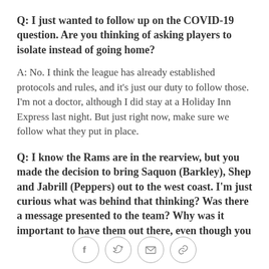Q: I just wanted to follow up on the COVID-19 question. Are you thinking of asking players to isolate instead of going home?
A: No. I think the league has already established protocols and rules, and it's just our duty to follow those. I'm not a doctor, although I did stay at a Holiday Inn Express last night. But just right now, make sure we follow what they put in place.
Q: I know the Rams are in the rearview, but you made the decision to bring Saquon (Barkley), Shep and Jabrill (Peppers) out to the west coast. I'm just curious what was behind that thinking? Was there a message presented to the team? Why was it important to have them out there, even though you
[Figure (other): Social sharing icons: Facebook, Twitter, Email, Link]